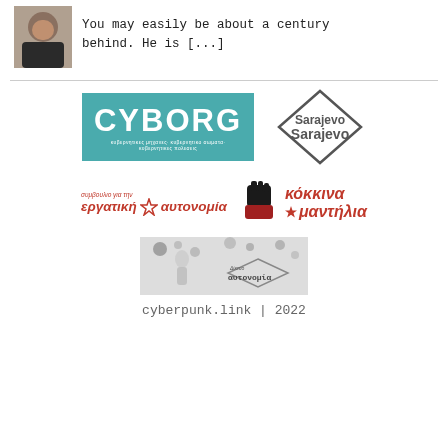[Figure (photo): Small profile photo of a person in dark clothing]
You may easily be about a century behind. He is [...]
[Figure (logo): CYBORG logo - teal background with white text, subtitle in Greek]
[Figure (logo): Sarajevo diamond-shaped logo with gray text]
[Figure (logo): εργατική αυτονομία - red italic Greek text logo with star]
[Figure (logo): κόκκινα μαντήλια - red Greek text with black fist icon and star]
[Figure (logo): αυτονομία - black and white logo with figure and splatter effect]
cyberpunk.link | 2022